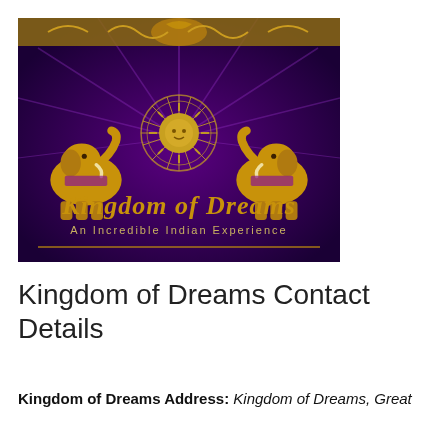[Figure (logo): Kingdom of Dreams logo on a deep purple background. Two golden elephants face each other flanking a decorative gold sun/wheel motif. Text reads 'Kingdom of Dreams' in gold script lettering, and below 'An Incredible Indian Experience' in smaller gold text. Top border has ornate gold decorative pattern.]
Kingdom of Dreams Contact Details
Kingdom of Dreams Address: Kingdom of Dreams, Great